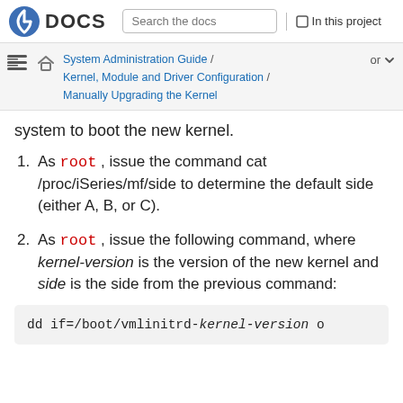Fedora DOCS | Search the docs | In this project
System Administration Guide / Kernel, Module and Driver Configuration / Manually Upgrading the Kernel
system to boot the new kernel.
As root, issue the command cat /proc/iSeries/mf/side to determine the default side (either A, B, or C).
As root, issue the following command, where kernel-version is the version of the new kernel and side is the side from the previous command:
dd if=/boot/vmlinitrd-kernel-version o